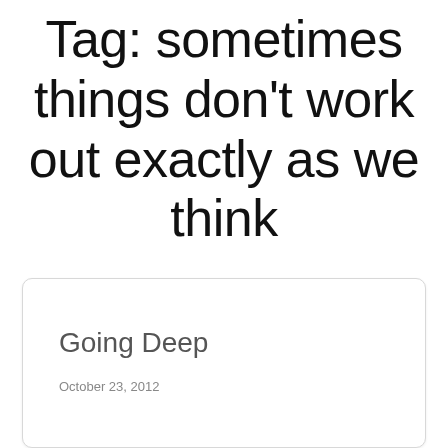Tag: sometimes things don't work out exactly as we think
Going Deep
October 23, 2012